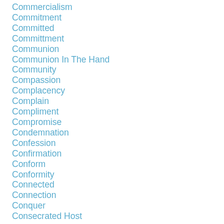Commercialism
Commitment
Committed
Committment
Communion
Communion In The Hand
Community
Compassion
Complacency
Complain
Compliment
Compromise
Condemnation
Confession
Confirmation
Conform
Conformity
Connected
Connection
Conquer
Consecrated Host